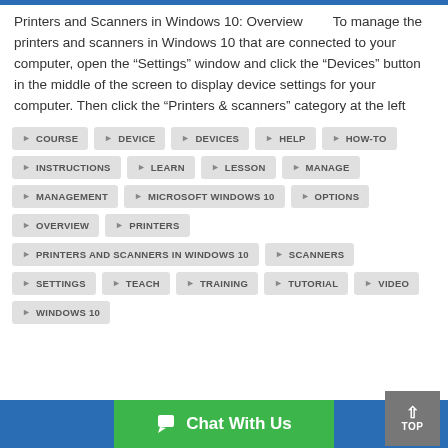Printers and Scanners in Windows 10: Overview      To manage the printers and scanners in Windows 10 that are connected to your computer, open the “Settings” window and click the “Devices” button in the middle of the screen to display device settings for your computer. Then click the “Printers & scanners” category at the left
COURSE
DEVICE
DEVICES
HELP
HOW-TO
INSTRUCTIONS
LEARN
LESSON
MANAGE
MANAGEMENT
MICROSOFT WINDOWS 10
OPTIONS
OVERVIEW
PRINTERS
PRINTERS AND SCANNERS IN WINDOWS 10
SCANNERS
SETTINGS
TEACH
TRAINING
TUTORIAL
VIDEO
WINDOWS 10